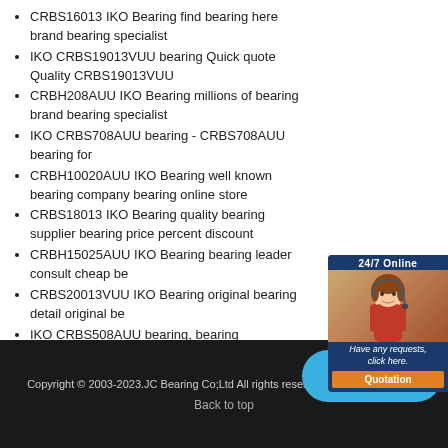CRBS16013 IKO Bearing find bearing here brand bearing specialist
IKO CRBS19013VUU bearing Quick quote Quality CRBS19013VUU
CRBH208AUU IKO Bearing millions of bearing brand bearing specialist
IKO CRBS708AUU bearing - CRBS708AUU bearing for
CRBH10020AUU IKO Bearing well known bearing company bearing online store
CRBS18013 IKO Bearing quality bearing supplier bearing price percent discount
CRBH15025AUU IKO Bearing bearing leader consult cheap be
CRBS20013VUU IKO Bearing original bearing detail original be
IKO CRBS508AUU bearing, bearing dimensions-50mm*66mm
CRBH13025AUU IKO Bearing find bearing here bearing coope
CRBH11020AUU IKO Bearing Huge Stocks bearing bearing leader
CRBS18013V IKO Bearing bearing 3weeks high discount compare price bearing
IKO CRB13025UU Bearing – Ball Roller Bearings Supplier
Copyright © 2003-2023.JC Bearing Co;Ltd All rights reserved. | bearing-sale.com
Back to top